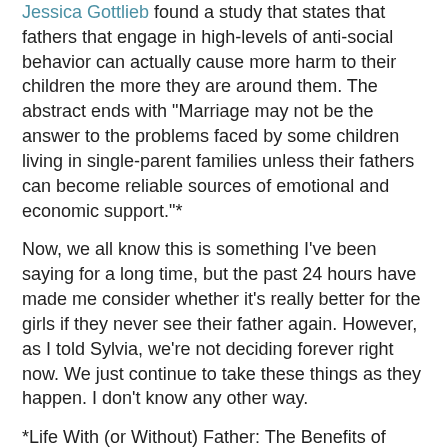Jessica Gottlieb found a study that states that fathers that engage in high-levels of anti-social behavior can actually cause more harm to their children the more they are around them. The abstract ends with "Marriage may not be the answer to the problems faced by some children living in single-parent families unless their fathers can become reliable sources of emotional and economic support."*
Now, we all know this is something I've been saying for a long time, but the past 24 hours have made me consider whether it's really better for the girls if they never see their father again. However, as I told Sylvia, we're not deciding forever right now. We just continue to take these things as they happen. I don't know any other way.
*Life With (or Without) Father: The Benefits of Living With Two Biological Parents Depend on the Father's Antisocial Behavior
Jaffee, Sara R.; Moffitt, Terrie E.; Caspi, Avshalom; Taylor, Alan
Child Development, v74 n1 p109-26 Jan-Feb 2003